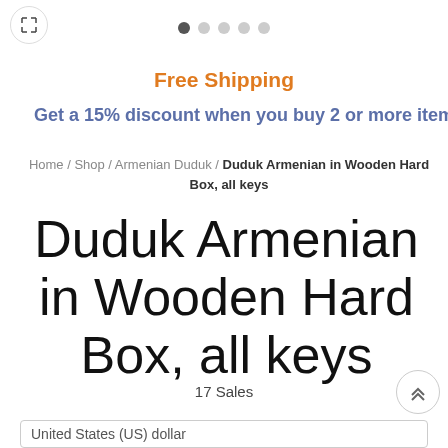[Figure (other): Expand/fullscreen button icon (arrows pointing outward) in a circle]
[Figure (other): Image carousel dot indicators: 5 dots, first one active (dark), rest gray]
Free Shipping
Get a 15% discount when you buy 2 or more item
Home / Shop / Armenian Duduk / Duduk Armenian in Wooden Hard Box, all keys
Duduk Armenian in Wooden Hard Box, all keys
17 Sales
[Figure (other): Scroll-to-top button with double chevron up icon]
United States (US) dollar